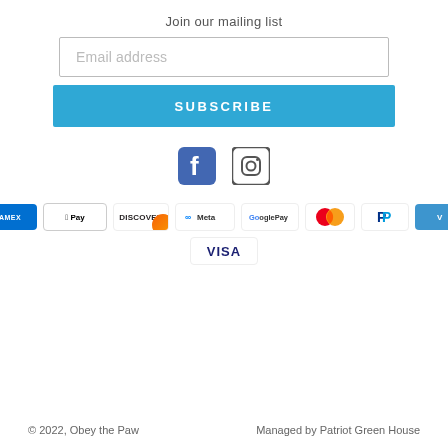Join our mailing list
[Figure (screenshot): Email address input field — white box with gray border and placeholder text 'Email address']
[Figure (screenshot): Blue SUBSCRIBE button]
[Figure (logo): Facebook and Instagram social media icons]
[Figure (logo): Payment method icons: American Express, Apple Pay, Discover, Meta Pay, Google Pay, Mastercard, PayPal, Venmo, Visa]
© 2022, Obey the Paw    Managed by Patriot Green House